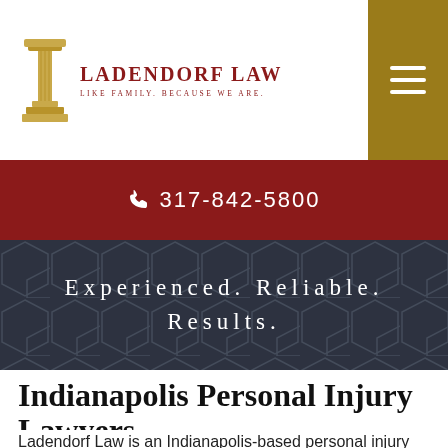[Figure (logo): Ladendorf Law logo with a gold classical column icon and red text reading LADENDORF LAW / LIKE FAMILY. BECAUSE WE ARE.]
317-842-5800
Experienced. Reliable. Results.
Indianapolis Personal Injury Lawyers
Ladendorf Law is an Indianapolis-based personal injury law firm that represents clients throughout the state of Indiana